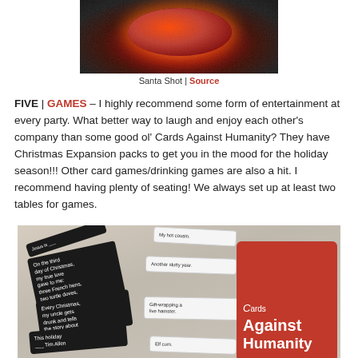[Figure (photo): Close-up photo of a red glowing object (Santa Shot) on a dark glittery background]
Santa Shot | Source
FIVE | GAMES – I highly recommend some form of entertainment at every party. What better way to laugh and enjoy each other's company than some good ol' Cards Against Humanity? They have Christmas Expansion packs to get you in the mood for the holiday season!!! Other card games/drinking games are also a hit. I recommend having plenty of seating! We always set up at least two tables for games.
[Figure (photo): Photo of Cards Against Humanity card game box (red) alongside black and white playing cards spread on a table]